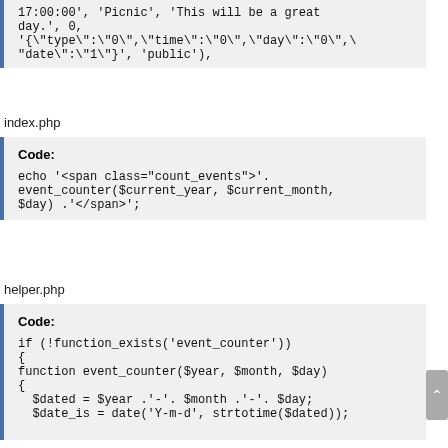17:00:00', 'Picnic', 'This will be a great day.', 0, '{\"type\":\"0\",\"time\":\"0\",\"day\":\"0\",\"date\":\"1\"}', 'public'),
index.php
Code:
echo '<span class="count_events">'.
event_counter($current_year, $current_month,
$day) .'</span>';
helper.php
Code:
if (!function_exists('event_counter'))
{
function event_counter($year, $month, $day)
{
  $dated = $year .'-'. $month .'-'. $day;
  $date_is = date('Y-m-d', strtotime($dated));